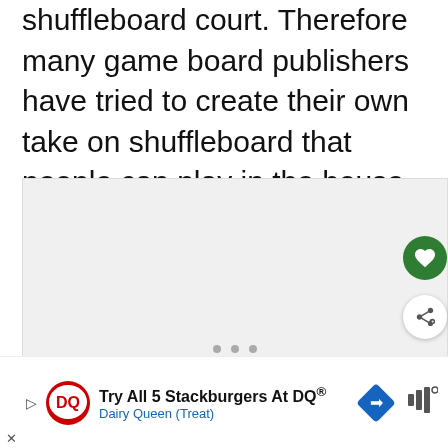shuffleboard court. Therefore many game board publishers have tried to create their own take on shuffleboard that people can play in the house. One of these games is Rebound which was made in 1971 by Ideal.
[Figure (photo): Image area (placeholder/light gray) with UI overlay elements: heart favorite button (green circle), share button (white circle with share icon), dots navigation indicator, and a 'What's Next' panel showing a thumbnail and 'Snakesss Board Game...' text]
[Figure (infographic): Advertisement banner: Dairy Queen ad reading 'Try All 5 Stackburgers At DQ® Dairy Queen (Treat)' with DQ logo, red and white oval DQ logo, blue diamond arrow icon, and mute/audio icon]